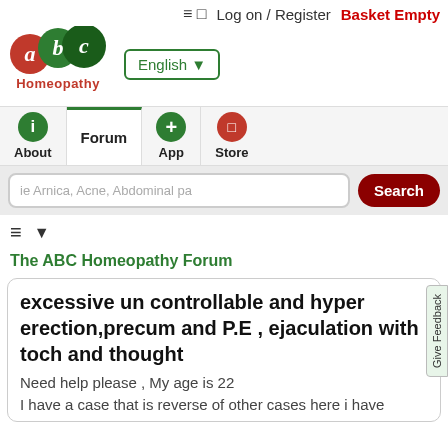≡ □  Log on / Register  Basket Empty
[Figure (logo): ABC Homeopathy logo with red 'a', green 'b', green 'c' circles and text 'Homeopathy' below]
English ▼
About  Forum  App  Store
ie Arnica, Acne, Abdominal pa  Search
≡  ▼
The ABC Homeopathy Forum
excessive un controllable and hyper erection,precum and P.E , ejaculation with toch and thought
Need help please , My age is 22
I have a case that is reverse of other cases here i have